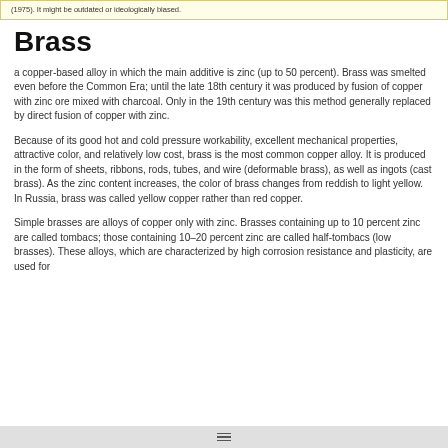(1975). It might be outdated or ideologically biased.
Brass
a copper-based alloy in which the main additive is zinc (up to 50 percent). Brass was smelted even before the Common Era; until the late 18th century it was produced by fusion of copper with zinc ore mixed with charcoal. Only in the 19th century was this method generally replaced by direct fusion of copper with zinc.
Because of its good hot and cold pressure workability, excellent mechanical properties, attractive color, and relatively low cost, brass is the most common copper alloy. It is produced in the form of sheets, ribbons, rods, tubes, and wire (deformable brass), as well as ingots (cast brass). As the zinc content increases, the color of brass changes from reddish to light yellow. In Russia, brass was called yellow copper rather than red copper.
Simple brasses are alloys of copper only with zinc. Brasses containing up to 10 percent zinc are called tombacs; those containing 10–20 percent zinc are called half-tombacs (low brasses). These alloys, which are characterized by high corrosion resistance and plasticity, are used for